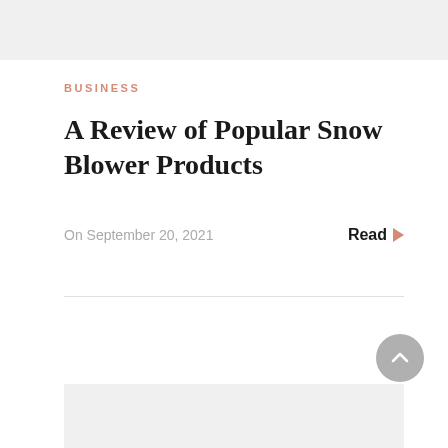BUSINESS
A Review of Popular Snow Blower Products
On September 20, 2021
Read ▶